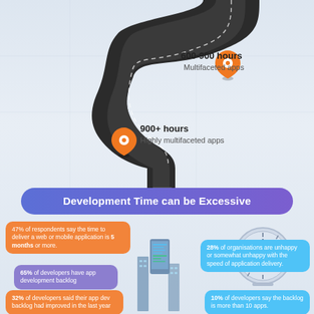[Figure (infographic): Winding road infographic showing app development time milestones. A curved black road winds down the page with two orange location pin markers. First pin labeled '600-900 hours / Multifaceted apps'. Second pin labeled '900+ hours / Highly multifaceted apps'.]
600-900 hours
Multifaceted apps
900+ hours
Highly multifaceted apps
Development Time can be Excessive
47% of respondents say the time to deliver a web or mobile application is 5 months or more.
28% of organisations are unhappy or somewhat unhappy with the speed of application delivery.
65% of developers have app development backlog
32% of developers said their app dev backlog had improved in the last year
10% of developers say the backlog is more than 10 apps.